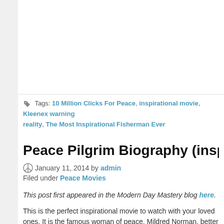Tags: 10 Million Clicks For Peace, inspirational movie, Kleenex warning, reality, The Most Inspirational Fisherman Ever
Peace Pilgrim Biography (inspirational m...
January 11, 2014 by admin
Filed under Peace Movies
This post first appeared in the Modern Day Mastery blog here.
This is the perfect inspirational movie to watch with your loved ones. It is the famous woman of peace, Mildred Norman, better known as Peace P... Michael Beckwith with interviews with such notaries as the Dalai Lama, Dan Millman and Elizabeth Kubler Ross as well as many of Peace Pilgri...